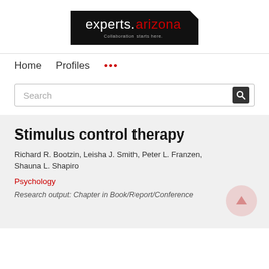[Figure (logo): experts.arizona logo — black rectangle with white text 'experts.' and red 'arizona', tagline 'Collaboration starts here.' and white corner notch]
Home   Profiles   ...
Search
Stimulus control therapy
Richard R. Bootzin, Leisha J. Smith, Peter L. Franzen, Shauna L. Shapiro
Psychology
Research output: Chapter in Book/Report/Conference